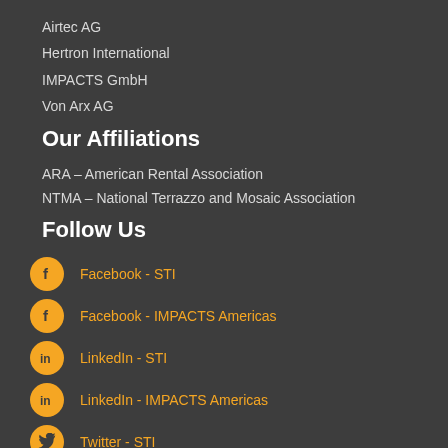Airtec AG
Hertron International
IMPACTS GmbH
Von Arx AG
Our Affiliations
ARA – American Rental Association
NTMA – National Terrazzo and Mosaic Association
Follow Us
Facebook - STI
Facebook - IMPACTS Americas
LinkedIn - STI
LinkedIn - IMPACTS Americas
Twitter - STI
YouTube - STI